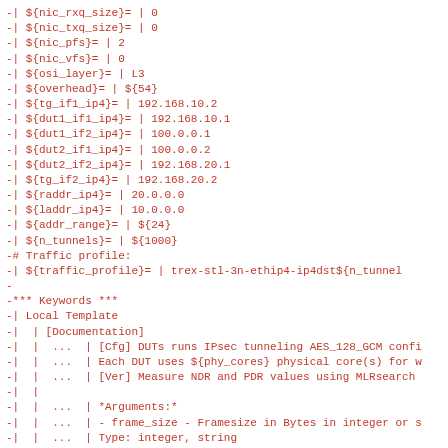-| ${nic_rxq_size}= | 0
-| ${nic_txq_size}= | 0
-| ${nic_pfs}= | 2
-| ${nic_vfs}= | 0
-| ${osi_layer}= | L3
-| ${overhead}= | ${54}
-| ${tg_if1_ip4}= | 192.168.10.2
-| ${dut1_if1_ip4}= | 192.168.10.1
-| ${dut1_if2_ip4}= | 100.0.0.1
-| ${dut2_if1_ip4}= | 100.0.0.2
-| ${dut2_if2_ip4}= | 192.168.20.1
-| ${tg_if2_ip4}= | 192.168.20.2
-| ${raddr_ip4}= | 20.0.0.0
-| ${laddr_ip4}= | 10.0.0.0
-| ${addr_range}= | ${24}
-| ${n_tunnels}= | ${1000}
-# Traffic profile:
-| ${traffic_profile}= | trex-stl-3n-ethip4-ip4dst${n_tunnel
-
-*** Keywords ***
-| Local Template
-|  | [Documentation]
-|  |  ...  | [Cfg] DUTs runs IPsec tunneling AES_128_GCM confi
-|  |  ...  | Each DUT uses ${phy_cores} physical core(s) for w
-|  |  ...  | [Ver] Measure NDR and PDR values using MLRsearch
-|  |
-|  |  ...  | *Arguments:*
-|  |  ...  | - frame_size - Framesize in Bytes in integer or s
-|  |  ...  | Type: integer, string
-|  |  ...  | - phy_cores - Number of physical cores. Type: int
-|  |  ...  | - rxq - Number of RX queues, default value: ${No
-|  |